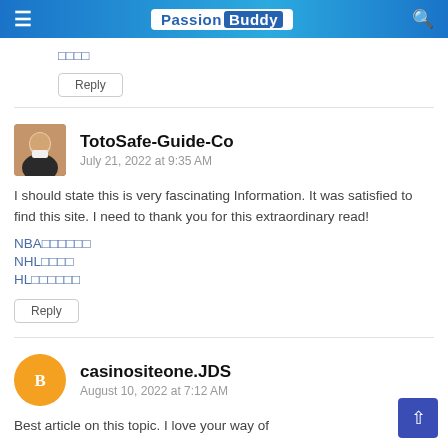PassionBuddy
□□□□
Reply
TotoSafe-Guide-Co    July 21, 2022 at 9:35 AM
I should state this is very fascinating Information. It was satisfied to find this site. I need to thank you for this extraordinary read!
NBA□□□□□□
NHL□□□□
HL□□□□□□
Reply
casinositeone.JDS    August 10, 2022 at 7:12 AM
Best article on this topic. I love your way of